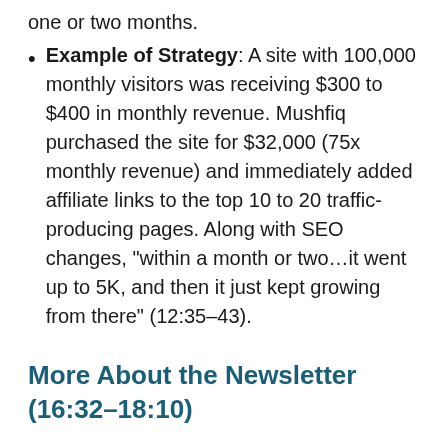one or two months.
Example of Strategy: A site with 100,000 monthly visitors was receiving $300 to $400 in monthly revenue. Mushfiq purchased the site for $32,000 (75x monthly revenue) and immediately added affiliate links to the top 10 to 20 traffic-producing pages. Along with SEO changes, “within a month or two…it went up to 5K, and then it just kept growing from there” (12:35–43).
More About the Newsletter (16:32–18:10)
Brokering is not Mushfiq’s primary